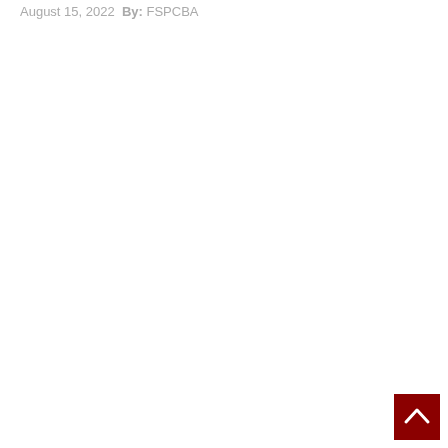August 15, 2022  By: FSPCBA
[Figure (other): Back to top button — a dark red square with a white upward-pointing chevron arrow in the bottom-right corner of the page]